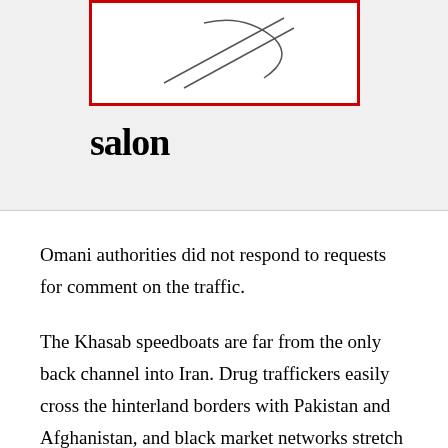[Figure (logo): Salon logo — stylized line drawing inside a red border rectangle, with the word 'salon' in bold black serif text below]
Omani authorities did not respond to requests for comment on the traffic.
The Khasab speedboats are far from the only back channel into Iran. Drug traffickers easily cross the hinterland borders with Pakistan and Afghanistan, and black market networks stretch across the frontiers with Iraq and Turkey. Authorities in Iraq's Kurdish region have been under pressure for years to crack down on fuel trucks heading into Iran in violation of U.S. sanctions.